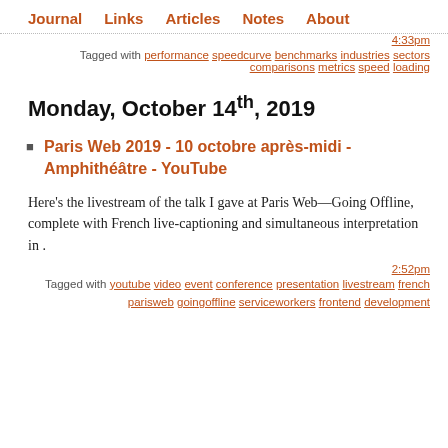Journal   Links   Articles   Notes   About
4:33pm
Tagged with performance speedcurve benchmarks industries sectors comparisons metrics speed loading
Monday, October 14th, 2019
Paris Web 2019 - 10 octobre après-midi - Amphithéâtre - YouTube
Here's the livestream of the talk I gave at Paris Web—Going Offline, complete with French live-captioning and simultaneous interpretation in .
2:52pm
Tagged with youtube video event conference presentation livestream french parisweb goingoffline serviceworkers frontend development